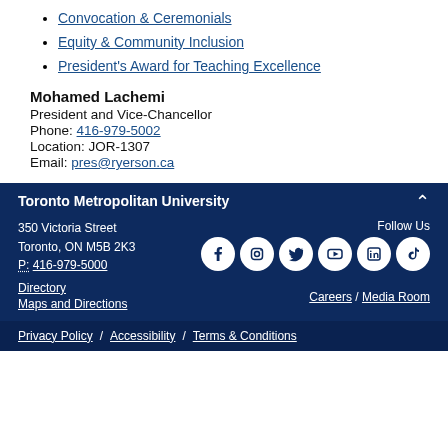Convocation & Ceremonials
Equity & Community Inclusion
President's Award for Teaching Excellence
Mohamed Lachemi
President and Vice-Chancellor
Phone: 416-979-5002
Location: JOR-1307
Email: pres@ryerson.ca
Toronto Metropolitan University
350 Victoria Street
Toronto, ON M5B 2K3
P: 416-979-5000
Follow Us
Directory
Maps and Directions
Careers / Media Room
Privacy Policy / Accessibility / Terms & Conditions